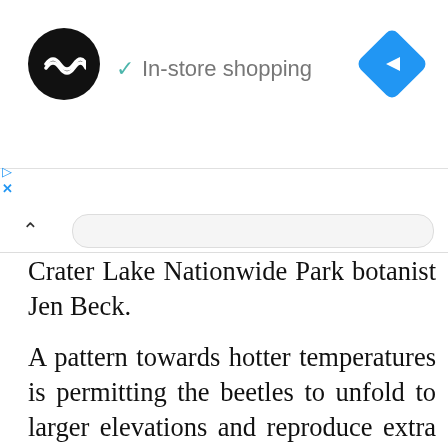In-store shopping
Crater Lake Nationwide Park botanist Jen Beck.
A pattern towards hotter temperatures is permitting the beetles to unfold to larger elevations and reproduce extra shortly, she mentioned.
“The beetles assault the most important, cone-producing bushes. The beetles desire these as a result of they’ll have larger broods,” Beck mentioned.